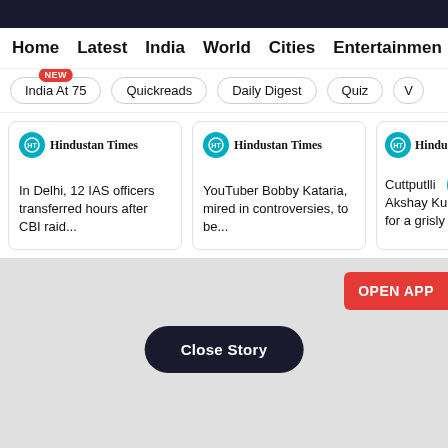Home  Latest  India  World  Cities  Entertainment
India At 75 (NEW)  Quickreads  Daily Digest  Quiz  V
[Figure (screenshot): Three Hindustan Times article cards: 'In Delhi, 12 IAS officers transferred hours after CBI raid...', 'YouTuber Bobby Kataria, mired in controversies, to be...', 'Cuttputlli Akshay Ku... for a grisly']
[Figure (screenshot): Gray bottom section with OPEN APP red button and Close Story dark pill button]